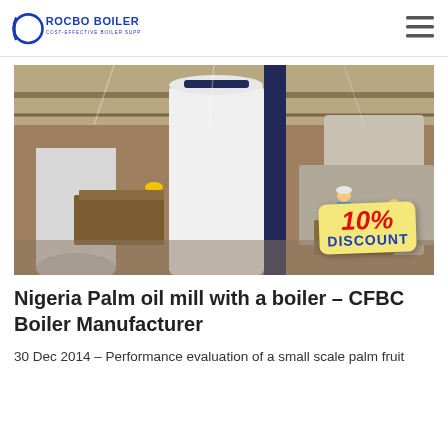ROCBO BOILER — COST-EFFECTIVE BOILER SUPPLIER
[Figure (photo): Industrial boiler manufacturing facility showing workers in hardhats near large white cylindrical boilers and equipment on a factory floor, with a 10% DISCOUNT badge overlay in the lower right corner.]
Nigeria Palm oil mill with a boiler – CFBC Boiler Manufacturer
30 Dec 2014 – Performance evaluation of a small scale palm fruit